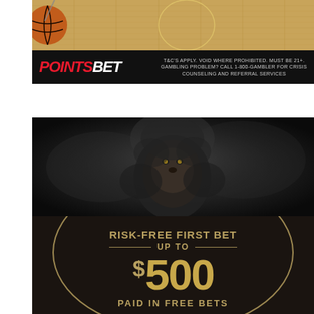[Figure (advertisement): PointsBet sports betting banner ad on basketball court floor background. Black bar with POINTSBET logo (POINTS in red italic, BET in white italic) on left. Disclaimer text on right: T&C'S APPLY. VOID WHERE PROHIBITED. MUST BE 21+. GAMBLING PROBLEM? CALL 1-800-GAMBLER FOR CRISIS COUNSELING AND REFERRAL SERVICES]
[Figure (advertisement): Dark gambling/betting advertisement with a lion in dark smoky background. Gold oval border design. Text reads RISK-FREE FIRST BET UP TO $500 PAID IN FREE BETS. Dark leather texture background with gold/tan color scheme.]